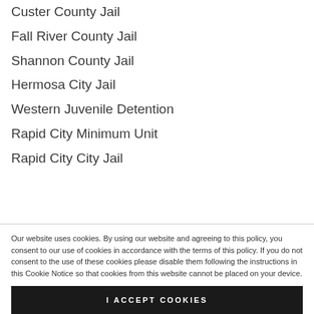Custer County Jail
Fall River County Jail
Shannon County Jail
Hermosa City Jail
Western Juvenile Detention
Rapid City Minimum Unit
Rapid City City Jail
Our website uses cookies. By using our website and agreeing to this policy, you consent to our use of cookies in accordance with the terms of this policy. If you do not consent to the use of these cookies please disable them following the instructions in this Cookie Notice so that cookies from this website cannot be placed on your device.
I ACCEPT COOKIES